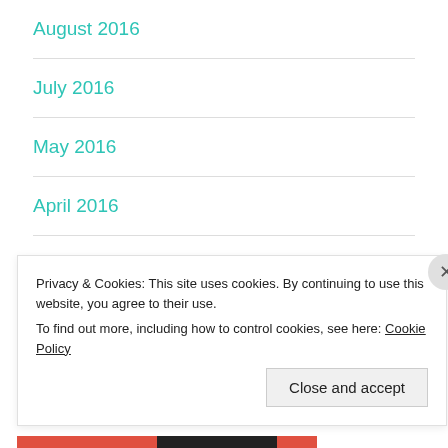August 2016
July 2016
May 2016
April 2016
March 2016
February 2016
Privacy & Cookies: This site uses cookies. By continuing to use this website, you agree to their use.
To find out more, including how to control cookies, see here: Cookie Policy
Close and accept